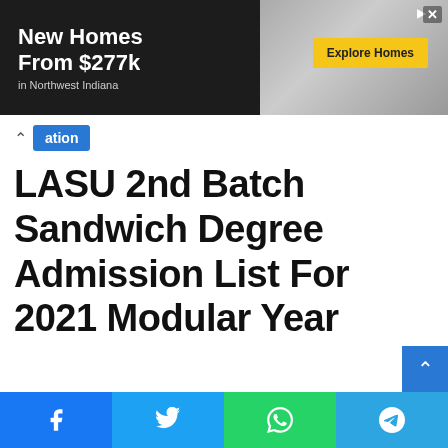[Figure (photo): Advertisement banner: 'New Homes From $277k in Northwest Indiana' with kitchen photo and 'Explore Homes' button]
ation (navigation breadcrumb tag)
LASU 2nd Batch Sandwich Degree Admission List For 2021 Modular Year
[Figure (infographic): Scroll-to-top button (blue square with up arrow)]
[Figure (infographic): Social share bar with Facebook, Twitter, WhatsApp, and Telegram buttons]